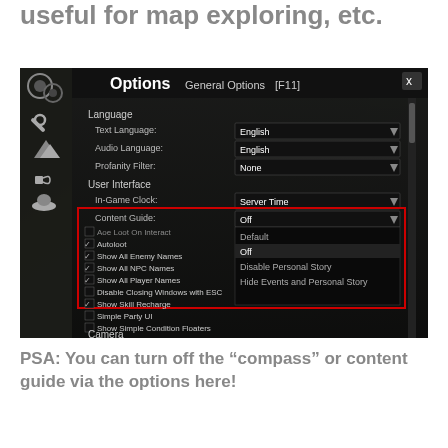useful for map exploring, etc.
[Figure (screenshot): Game options menu screenshot showing General Options panel with Language settings (Text Language: English, Audio Language: English, Profanity Filter: None), User Interface settings (In-Game Clock: Server Time, Content Guide: Off with dropdown showing Default, Off, Disable Personal Story, Hide Events and Personal Story options highlighted in red box), and checkboxes for Autoloot, Show All Enemy Names, Show All NPC Names, Show All Player Names, Disable Closing Windows with ESC, Show Skill Recharge, Simple Party UI, Show Simple Condition Floaters, and Camera section.]
PSA: You can turn off the “compass” or content guide via the options here!